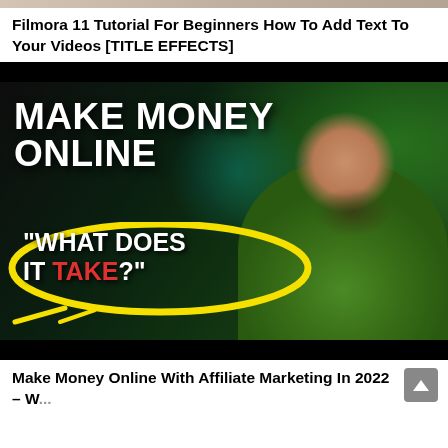Filmora 11 Tutorial For Beginners How To Add Text To Your Videos [TITLE EFFECTS]
[Figure (screenshot): YouTube video thumbnail showing text 'MAKE MONEY ONLINE' in large white bold letters on dark/green background, with a yellow oval containing '"WHAT DOES IT TAKE?"' and a man in a green hoodie making a surprised face on the right side.]
Make Money Online With Affiliate Marketing In 2022 – W...